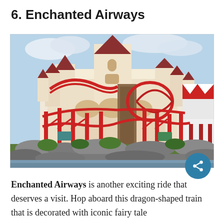6. Enchanted Airways
[Figure (photo): Outdoor photo of the Enchanted Airways roller coaster ride with red tracks and supports, in front of a fairy tale castle with multiple turrets and spires, with red and white striped tents visible on the right, greenery in the foreground, and a partly cloudy sky.]
Enchanted Airways is another exciting ride that deserves a visit. Hop aboard this dragon-shaped train that is decorated with iconic fairy tale